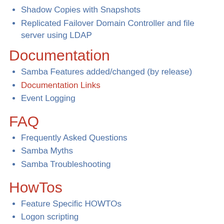Shadow Copies with Snapshots
Replicated Failover Domain Controller and file server using LDAP
Documentation
Samba Features added/changed (by release)
Documentation Links
Event Logging
FAQ
Frequently Asked Questions
Samba Myths
Samba Troubleshooting
HowTos
Feature Specific HOWTOs
Logon scripting